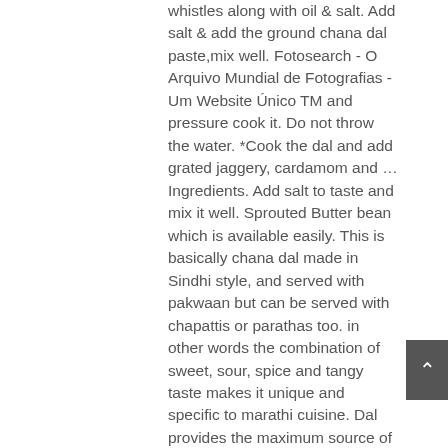whistles along with oil & salt. Add salt & add the ground chana dal paste,mix well. Fotosearch - O Arquivo Mundial de Fotografias - Um Website Único TM and pressure cook it. Do not throw the water. *Cook the dal and add grated jaggery, cardamom and … Ingredients. Add salt to taste and mix it well. Sprouted Butter bean which is available easily. This is basically chana dal made in Sindhi style, and served with pakwaan but can be served with chapattis or parathas too. in other words the combination of sweet, sour, spice and tangy taste makes it unique and specific to marathi cuisine. Dal provides the maximum source of